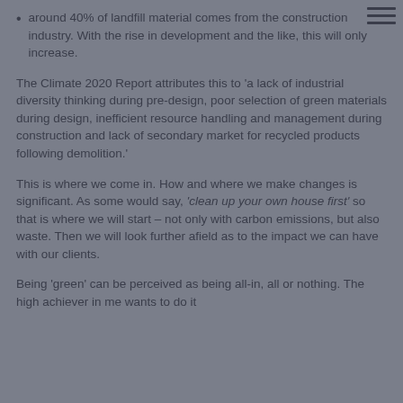around 40% of landfill material comes from the construction industry. With the rise in development and the like, this will only increase.
The Climate 2020 Report attributes this to 'a lack of industrial diversity thinking during pre-design, poor selection of green materials during design, inefficient resource handling and management during construction and lack of secondary market for recycled products following demolition.'
This is where we come in. How and where we make changes is significant. As some would say, 'clean up your own house first' so that is where we will start – not only with carbon emissions, but also waste. Then we will look further afield as to the impact we can have with our clients.
Being 'green' can be perceived as being all-in, all or nothing. The high achiever in me wants to do it